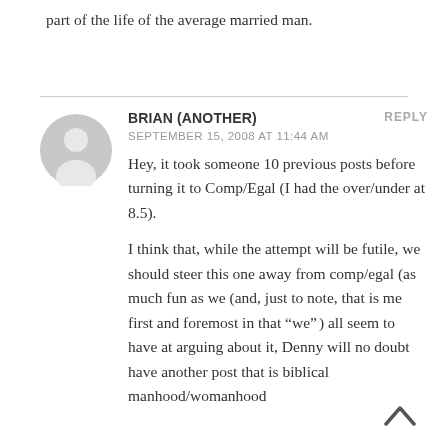part of the life of the average married man.
BRIAN (ANOTHER)
SEPTEMBER 15, 2008 AT 11:44 AM

Hey, it took someone 10 previous posts before turning it to Comp/Egal (I had the over/under at 8.5).

I think that, while the attempt will be futile, we should steer this one away from comp/egal (as much fun as we (and, just to note, that is me first and foremost in that “we” ) all seem to have at arguing about it, Denny will no doubt have another post that is biblical manhood/womanhood